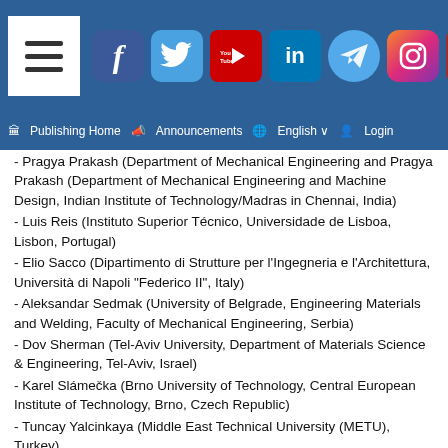Publishing Home | Announcements | English | Login
- Pragya Prakash (Department of Mechanical Engineering and Machine Design, Indian Institute of Technology/Madras in Chennai, India)
- Luis Reis (Instituto Superior Técnico, Universidade de Lisboa, Lisbon, Portugal)
- Elio Sacco (Dipartimento di Strutture per l'Ingegneria e l'Architettura, Università di Napoli "Federico II", Italy)
- Aleksandar Sedmak (University of Belgrade, Engineering Materials and Welding, Faculty of Mechanical Engineering, Serbia)
- Dov Sherman (Tel-Aviv University, Department of Materials Science & Engineering, Tel-Aviv, Israel)
- Karel Slámečka (Brno University of Technology, Central European Institute of Technology, Brno, Czech Republic)
- Tuncay Yalcinkaya (Middle East Technical University (METU), Turkey)
- Petro Yasniy (Ternopil National Ivan Puluj Technical University, Ukraine)
Editorial Board
- Jafar Albinmousa (Mechanical Engineering Department, King